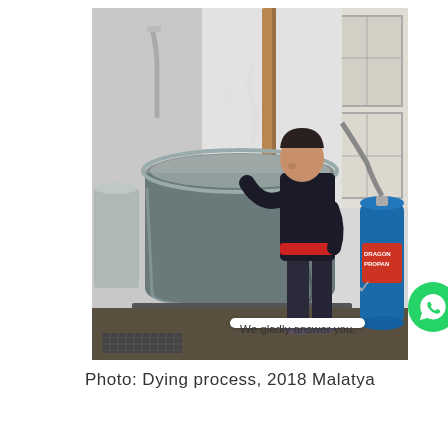[Figure (photo): A person stirring a large metal vat/cauldron in an industrial room. Steam rises from the vat. A blue propane gas cylinder is visible on the right. The setting appears to be a dyeing facility in Malatya, 2018.]
Photo: Dying process, 2018 Malatya